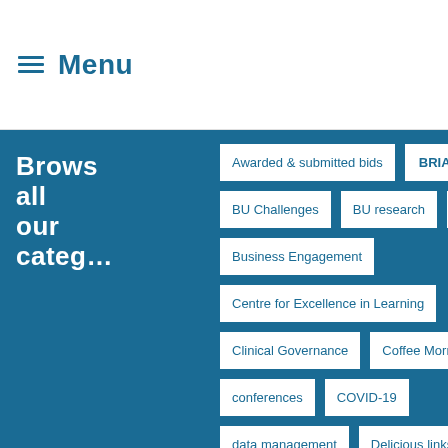Menu
Browse all our categories
Awarded & submitted bids
BRIAN
BU Challenges
BU research
BU2025
Business Engagement
Centre for Excellence in Learning
Clinical Governance
Coffee Morning
conferences
COVID-19
data management
Delicious links